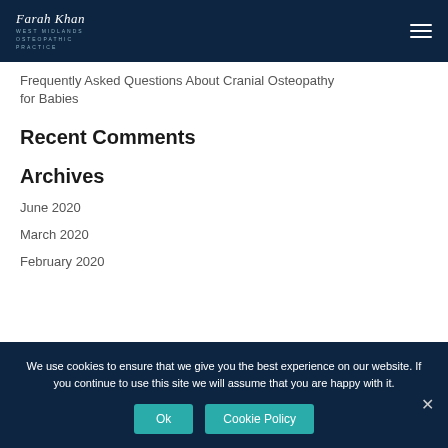Farah Khan West Midlands Osteopathic Practice
Frequently Asked Questions About Cranial Osteopathy for Babies
Recent Comments
Archives
June 2020
March 2020
February 2020
We use cookies to ensure that we give you the best experience on our website. If you continue to use this site we will assume that you are happy with it.